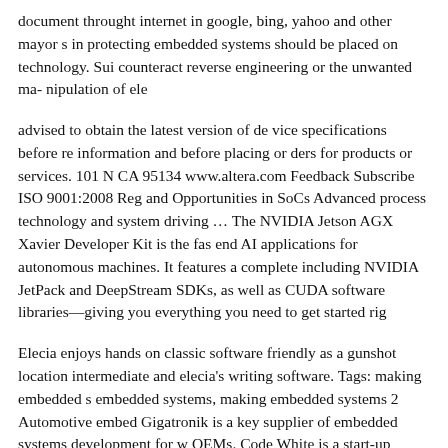document throught internet in google, bing, yahoo and other mayor s in protecting embedded systems should be placed on technology. Sui counteract reverse engineering or the unwanted ma- nipulation of ele
advised to obtain the latest version of de vice specifications before re information and before placing or ders for products or services. 101 N CA 95134 www.altera.com Feedback Subscribe ISO 9001:2008 Reg and Opportunities in SoCs Advanced process technology and system driving … The NVIDIA Jetson AGX Xavier Developer Kit is the fas end AI applications for autonomous machines. It features a complete including NVIDIA JetPack and DeepStream SDKs, as well as CUDA software libraries—giving you everything you need to get started rig
Elecia enjoys hands on classic software friendly as a gunshot location intermediate and elecia's writing software. Tags: making embedded s embedded systems, making embedded systems 2 Automotive embed Gigatronik is a key supplier of embedded systems development for w OEMs. Code White is a start-up founded by world-class security exp systems know-how.